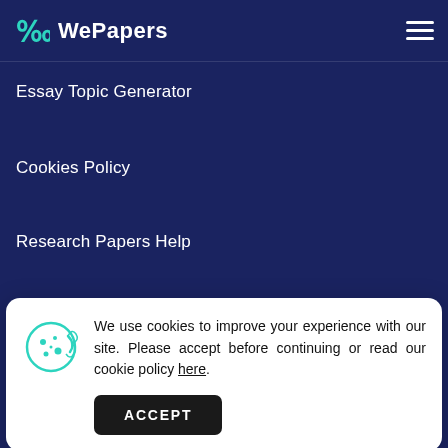WePapers
Essay Topic Generator
Cookies Policy
Research Papers Help
We use cookies to improve your experience with our site. Please accept before continuing or read our cookie policy here.
ACCEPT
Pay For Essay
Essay Topics Lists
Quality Evaluation Policy